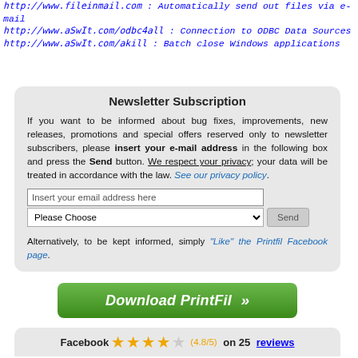http://www.fileinmail.com : Automatically send out files via e-mail
http://www.aSwIt.com/odbc4all : Connection to ODBC Data Sources
http://www.aSwIt.com/akill : Batch close Windows applications
Newsletter Subscription
If you want to be informed about bug fixes, improvements, new releases, promotions and special offers reserved only to newsletter subscribers, please insert your e-mail address in the following box and press the Send button. We respect your privacy; your data will be treated in accordance with the law. See our privacy policy.
[Figure (screenshot): Email subscription form with text input 'Insert your email address here', a 'Please Choose' dropdown, and a 'Send' button]
Alternatively, to be kept informed, simply "Like" the Printfil Facebook page.
[Figure (illustration): Green download button reading 'Download PrintFil >>']
Facebook ★★★★☆ (4.8/5) on 25 reviews